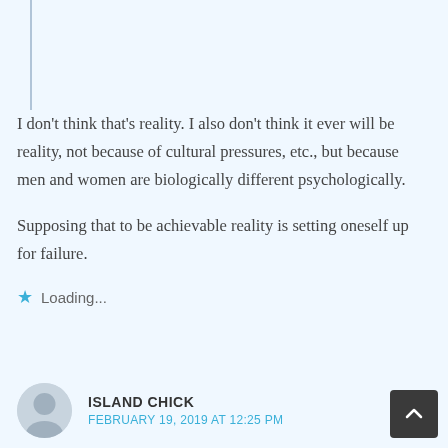I don't think that's reality. I also don't think it ever will be reality, not because of cultural pressures, etc., but because men and women are biologically different psychologically.
Supposing that to be achievable reality is setting oneself up for failure.
Loading...
ISLAND CHICK
FEBRUARY 19, 2019 AT 12:25 PM